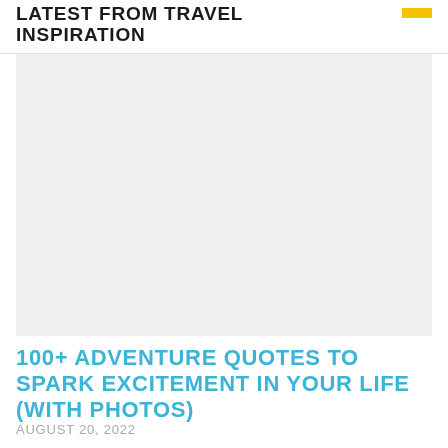LATEST FROM TRAVEL INSPIRATION
[Figure (photo): Large placeholder image with light gray background, appears to be a travel/adventure themed photo]
100+ ADVENTURE QUOTES TO SPARK EXCITEMENT IN YOUR LIFE (WITH PHOTOS)
AUGUST 20, 2022